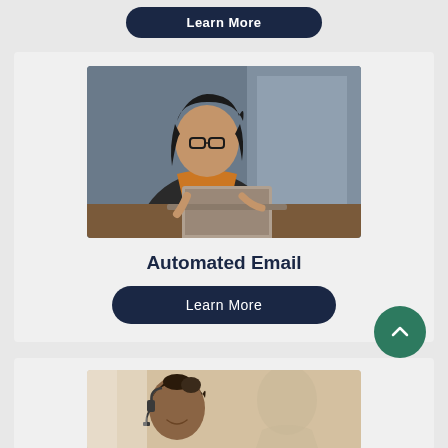[Figure (other): Partial dark navy rounded button labeled 'Learn More' at top of page, cropped]
[Figure (photo): Woman wearing glasses and an orange turtleneck sitting at a desk working on a laptop computer]
Automated Email
Learn More
[Figure (photo): Woman with headset smiling, partially visible, bottom of page cropped]